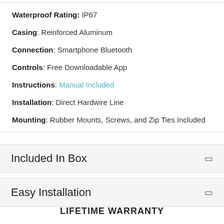Waterproof Rating: IP67
Casing: Reinforced Aluminum
Connection: Smartphone Bluetooth
Controls: Free Downloadable App
Instructions: Manual Included
Installation: Direct Hardwire Line
Mounting: Rubber Mounts, Screws, and Zip Ties Included
Included In Box
Easy Installation
LIFETIME WARRANTY